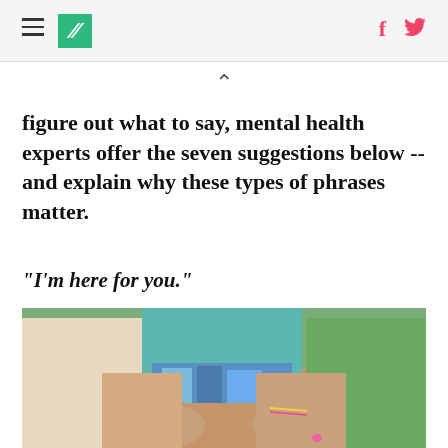HuffPost — hamburger menu, logo, Facebook and Twitter icons
figure out what to say, mental health experts offer the seven suggestions below -- and explain why these types of phrases matter.
"I'm here for you."
[Figure (photo): Close-up photo of two people sitting together, their hands clasped/interlocked in their laps, one wearing a teal/blue top and colorful shorts, the other in a green top, suggesting friendship and support.]